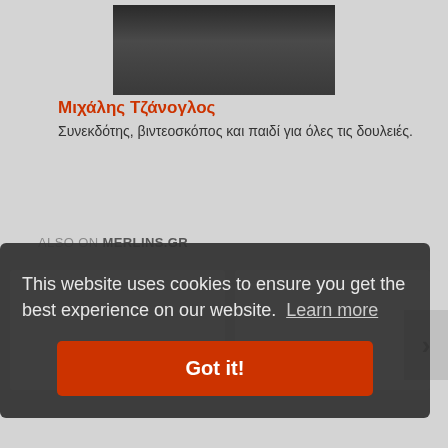[Figure (photo): Partial photo of a person, dark background, clipped at top]
Μιχάλης Τζάνογλος
Συνεκδότης, βιντεοσκόπος και παιδί για όλες τις δουλειές.
ALSO ON MERLINS.GR
[Figure (screenshot): Two white card placeholders side by side in a carousel widget]
This website uses cookies to ensure you get the best experience on our website. Learn more
Got it!